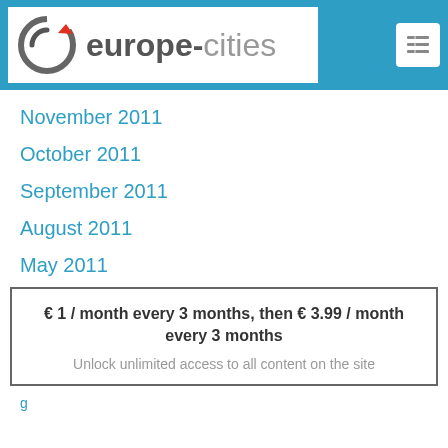europe-cities
November 2011
October 2011
September 2011
August 2011
May 2011
€ 1 / month every 3 months, then € 3.99 / month every 3 months
Unlock unlimited access to all content on the site